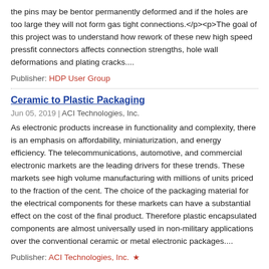the pins may be bentor permanently deformed and if the holes are too large they will not form gas tight connections.</p><p>The goal of this project was to understand how rework of these new high speed pressfit connectors affects connection strengths, hole wall deformations and plating cracks....
Publisher: HDP User Group
Ceramic to Plastic Packaging
Jun 05, 2019 | ACI Technologies, Inc.
As electronic products increase in functionality and complexity, there is an emphasis on affordability, miniaturization, and energy efficiency. The telecommunications, automotive, and commercial electronic markets are the leading drivers for these trends. These markets see high volume manufacturing with millions of units priced to the fraction of the cent. The choice of the packaging material for the electrical components for these markets can have a substantial effect on the cost of the final product. Therefore plastic encapsulated components are almost universally used in non-military applications over the conventional ceramic or metal electronic packages....
Publisher: ACI Technologies, Inc. ★